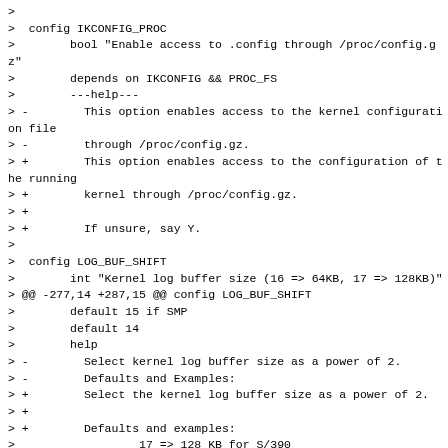> 
>  config IKCONFIG_PROC
>        bool "Enable access to .config through /proc/config.gz"
>        depends on IKCONFIG && PROC_FS
>        ---help---
> -        This option enables access to the kernel configuration file
> -        through /proc/config.gz.
> +        This option enables access to the configuration of the running
> +        kernel through /proc/config.gz.
> +
> +        If unsure, say Y.
> 
>  config LOG_BUF_SHIFT
>        int "Kernel log buffer size (16 => 64KB, 17 => 128KB)"
> @@ -277,14 +287,15 @@ config LOG_BUF_SHIFT
>        default 15 if SMP
>        default 14
>        help
> -        Select kernel log buffer size as a power of 2.
> -        Defaults and Examples:
> +        Select the kernel log buffer size as a power of 2.
> +
> +        Defaults and examples:
>                  17 => 128 KB for S/390